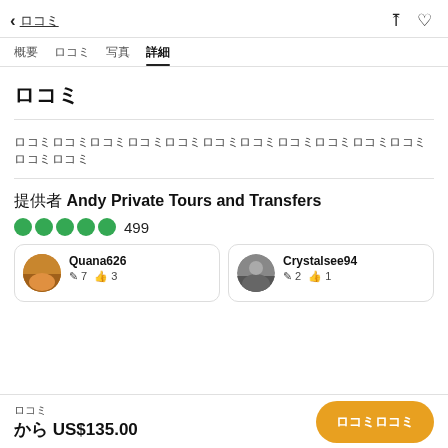← ロコミ
概要  ロコミ  写真  詳細
ロコミ
ロコミロコミロコミロコミロコミロコミロコミロコミロコミロコミロコミロコミロコミ
提供者 Andy Private Tours and Transfers
●●●●● 499
Quana626 ✎ 7 👍 3
Crystalsee94 ✎ 2 👍 1
料金 から US$135.00
ロコミロコミ